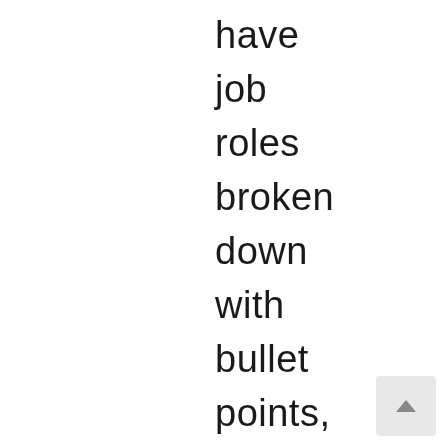have
job
roles
broken
down
with
bullet
points,